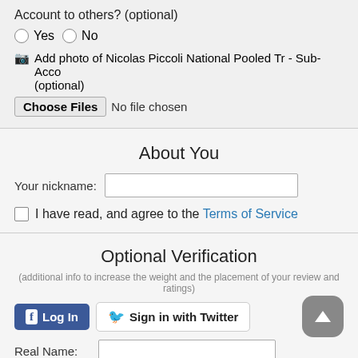Account to others? (optional)
Yes
No
Add photo of Nicolas Piccoli National Pooled Tr - Sub-Acco (optional)
Choose Files  No file chosen
About You
Your nickname:
I have read, and agree to the Terms of Service
Optional Verification
(additional info to increase the weight and the placement of your review and ratings)
Log In
Sign in with Twitter
Real Name:
Email (won't be published):